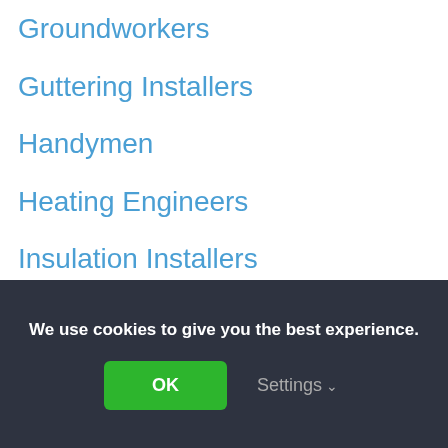Groundworkers
Guttering Installers
Handymen
Heating Engineers
Insulation Installers
Kitchen Fitters
Landscape Gardeners
Locksmiths
Loft Conversion Specialists
We use cookies to give you the best experience.
OK
Settings